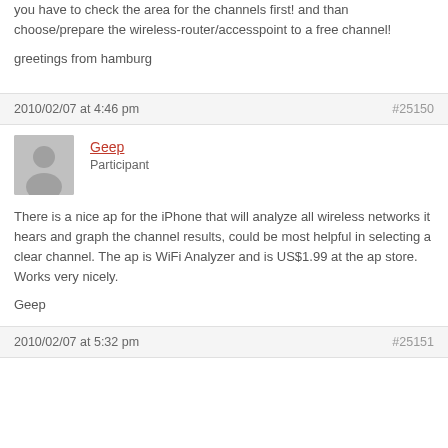you have to check the area for the channels first! and than choose/prepare the wireless-router/accesspoint to a free channel!

greetings from hamburg
2010/02/07 at 4:46 pm
#25150
Geep
Participant
There is a nice ap for the iPhone that will analyze all wireless networks it hears and graph the channel results, could be most helpful in selecting a clear channel. The ap is WiFi Analyzer and is US$1.99 at the ap store. Works very nicely.

Geep
2010/02/07 at 5:32 pm
#25151